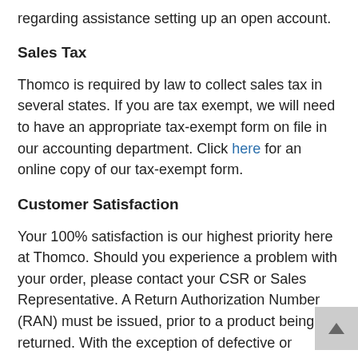regarding assistance setting up an open account.
Sales Tax
Thomco is required by law to collect sales tax in several states. If you are tax exempt, we will need to have an appropriate tax-exempt form on file in our accounting department. Click here for an online copy of our tax-exempt form.
Customer Satisfaction
Your 100% satisfaction is our highest priority here at Thomco. Should you experience a problem with your order, please contact your CSR or Sales Representative. A Return Authorization Number (RAN) must be issued, prior to a product being returned. With the exception of defective or damaged merchandise, all returns must be in the manufacturer's original packaging and in sellable